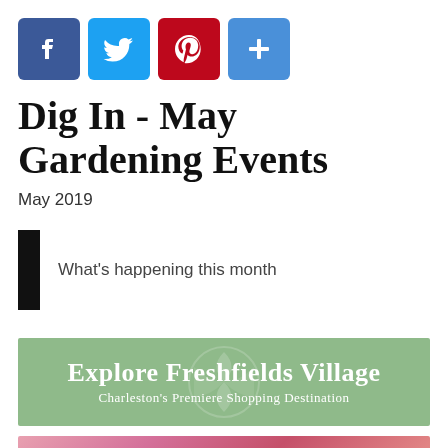[Figure (infographic): Four social media share icons: Facebook (blue), Twitter (light blue), Pinterest (red), and a plus/add button (blue)]
Dig In - May Gardening Events
May 2019
What's happening this month
[Figure (infographic): Green banner advertisement reading 'Explore Freshfields Village' with subtitle 'Charleston's Premiere Shopping Destination']
[Figure (photo): Partial colorful floral/garden photo at bottom of page]